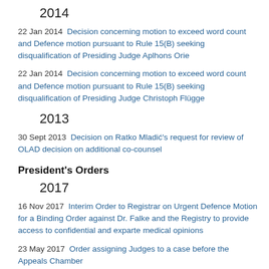2014
22 Jan 2014  Decision concerning motion to exceed word count and Defence motion pursuant to Rule 15(B) seeking disqualification of Presiding Judge Aplhons Orie
22 Jan 2014  Decision concerning motion to exceed word count and Defence motion pursuant to Rule 15(B) seeking disqualification of Presiding Judge Christoph Flügge
2013
30 Sept 2013  Decision on Ratko Mladić's request for review of OLAD decision on additional co-counsel
President's Orders
2017
16 Nov 2017  Interim Order to Registrar on Urgent Defence Motion for a Binding Order against Dr. Falke and the Registry to provide access to confidential and exparte medical opinions
23 May 2017  Order assigning Judges to a case before the Appeals Chamber